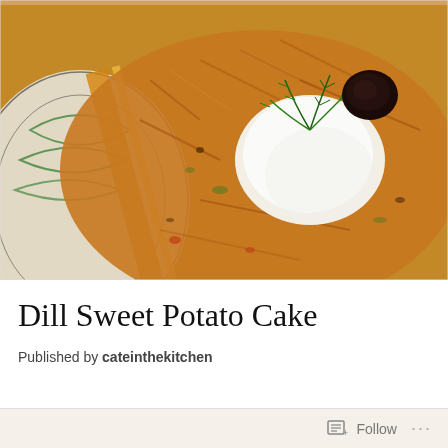[Figure (photo): Close-up photograph of a Dill Sweet Potato Cake on a decorative plate with black, white and orange geometric pattern. The latke-style cake is golden-brown and topped with a dollop of white sour cream or yogurt, fresh dill garnish, and a small dark garnish on top.]
Dill Sweet Potato Cake
Published by cateinthekitchen